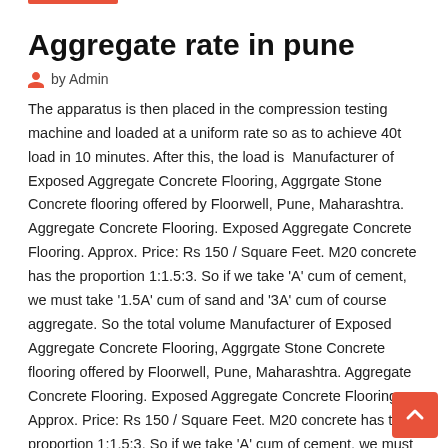Aggregate rate in pune
by Admin
The apparatus is then placed in the compression testing machine and loaded at a uniform rate so as to achieve 40t load in 10 minutes. After this, the load is  Manufacturer of Exposed Aggregate Concrete Flooring, Aggrgate Stone Concrete flooring offered by Floorwell, Pune, Maharashtra. Aggregate Concrete Flooring. Exposed Aggregate Concrete Flooring. Approx. Price: Rs 150 / Square Feet. M20 concrete has the proportion 1:1.5:3. So if we take 'A' cum of cement, we must take '1.5A' cum of sand and '3A' cum of course aggregate. So the total volume Manufacturer of Exposed Aggregate Concrete Flooring, Aggrgate Stone Concrete flooring offered by Floorwell, Pune, Maharashtra. Aggregate Concrete Flooring. Exposed Aggregate Concrete Flooring. Approx. Price: Rs 150 / Square Feet. M20 concrete has the proportion 1:1.5:3. So if we take 'A' cum of cement, we must take '1.5A' cum of sand and '3A' cum of course